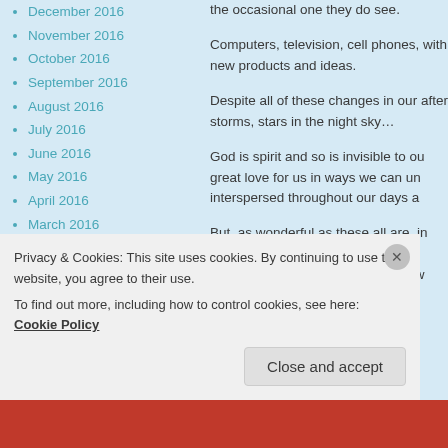December 2016
November 2016
October 2016
September 2016
August 2016
July 2016
June 2016
May 2016
April 2016
March 2016
February 2016
January 2016
December 2015
November 2015
October 2015
September 2015
August 2015
the occasional one they do see.
Computers, television, cell phones, with new products and ideas.
Despite all of these changes in our after storms, stars in the night sky...
God is spirit and so is invisible to our great love for us in ways we can un interspersed throughout our days a
But, as wonderful as these all are, in scripture. He doesn't just want us because He knows us and—even w
Privacy & Cookies: This site uses cookies. By continuing to use this website, you agree to their use. To find out more, including how to control cookies, see here: Cookie Policy